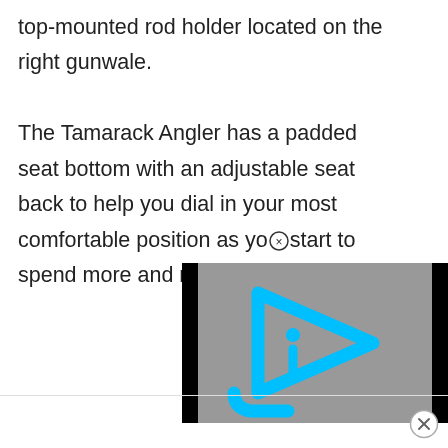top-mounted rod holder located on the right gunwale.

The Tamarack Angler has a padded seat bottom with an adjustable seat back to help you dial in your most comfortable position as yoⓇstart to spend more and more time out
[Figure (screenshot): Video player overlay showing a gray background with a cyan/turquoise play button icon (triangular play symbol with a curved 'i' inside), flanked by black bars on left and right sides.]
[Figure (other): Close/dismiss button (circle with X) in lower right corner of page]